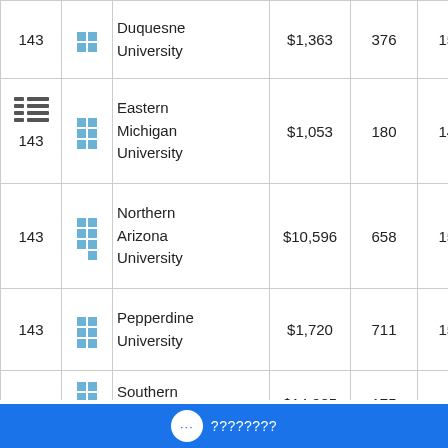| Rank | Icon | University | Value1 | Value2 | Value3 | City |
| --- | --- | --- | --- | --- | --- | --- |
| 143 |  | Duquesne University | $1,363 | 376 | 151 | Pittsburgh |
| 143 |  | Eastern Michigan University | $1,053 | 180 | 148 | Ypsilanti |
| 143 |  | Northern Arizona University | $10,596 | 658 | 155 | Flagstaff |
| 143 |  | Pepperdine University | $1,720 | 711 | 151 | Los Angeles |
| 143 |  | Southern Illinois | $14,085 | 175 | 0 | Carbondale |
... ????????